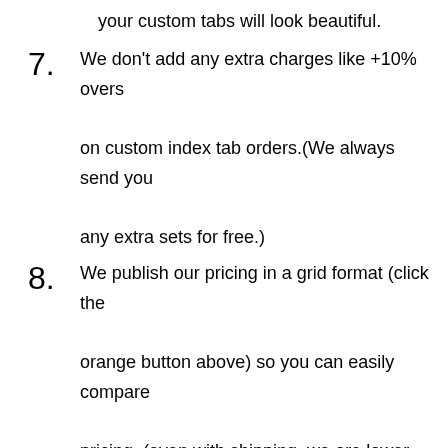your custom tabs will look beautiful.
7. We don’t add any extra charges like +10% overs on custom index tab orders.(We always send you any extra sets for free.)
8. We publish our pricing in a grid format (click the orange button above) so you can easily compare pricing. (even with shipping, we are lower than our competitors)
Standard Custom Index Tab Specs:
90 lb Recycled White: This is a bright white